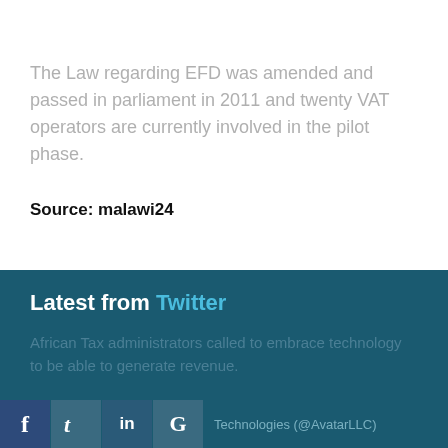The Law regarding EFD was amended and passed in parliament in 2011 and twenty VAT operators are currently involved in the pilot phase.
Source: malawi24
Latest from Twitter
African Tax administrators called to embrace technology to be able to generate revenue.
Technologies (@AvatarLLC)